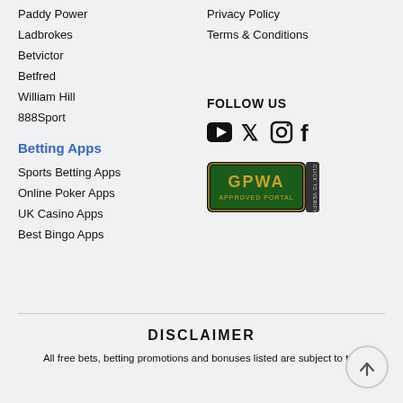Paddy Power
Ladbrokes
Betvictor
Betfred
William Hill
888Sport
Privacy Policy
Terms & Conditions
Betting Apps
FOLLOW US
Sports Betting Apps
Online Poker Apps
UK Casino Apps
Best Bingo Apps
[Figure (logo): GPWA Approved Portal badge - green and black badge with gold text]
DISCLAIMER
All free bets, betting promotions and bonuses listed are subject to the